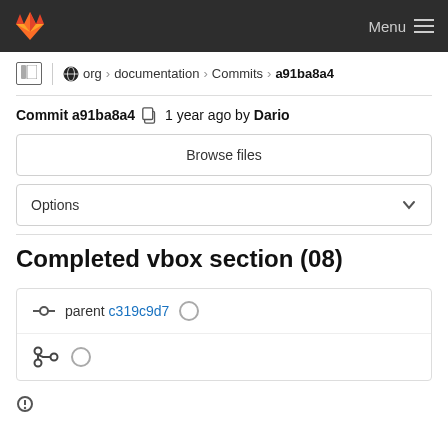Menu
org › documentation › Commits › a91ba8a4
Commit a91ba8a4  1 year ago by Dario
Browse files
Options
Completed vbox section (08)
parent c319c9d7